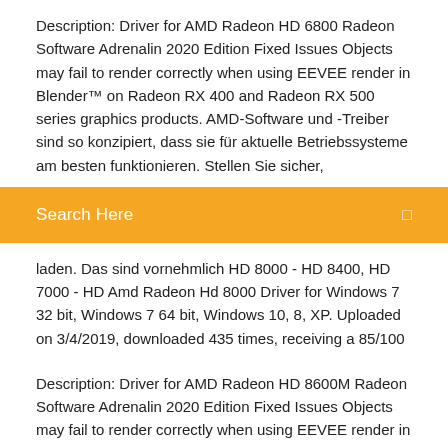Description: Driver for AMD Radeon HD 6800 Radeon Software Adrenalin 2020 Edition Fixed Issues Objects may fail to render correctly when using EEVEE render in Blender™ on Radeon RX 400 and Radeon RX 500 series graphics products. AMD-Software und -Treiber sind so konzipiert, dass sie für aktuelle Betriebssysteme am besten funktionieren. Stellen Sie sicher,
[Figure (screenshot): Orange search bar UI element with 'Search Here' placeholder text and a search icon on the right]
laden. Das sind vornehmlich HD 8000 - HD 8400, HD 7000 - HD Amd Radeon Hd 8000 Driver for Windows 7 32 bit, Windows 7 64 bit, Windows 10, 8, XP. Uploaded on 3/4/2019, downloaded 435 times, receiving a 85/100
Description: Driver for AMD Radeon HD 8600M Radeon Software Adrenalin 2020 Edition Fixed Issues Objects may fail to render correctly when using EEVEE render in Blender™ on Radeon RX 400 and Radeon RX 500 series graphics products. Quake III Arena™ may experience corruption during loading or